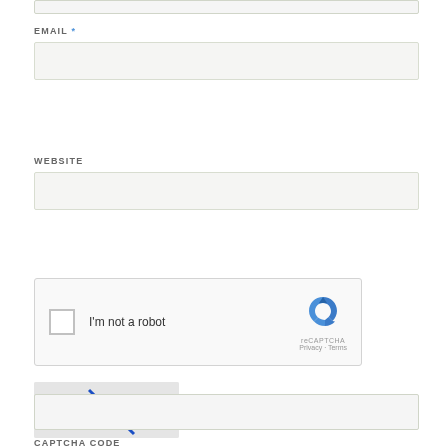[Figure (screenshot): Top input box partially visible at top of page]
EMAIL *
[Figure (screenshot): Email input field, empty, light gray background with green-tinted border]
WEBSITE
[Figure (screenshot): Website input field, empty, light gray background with green-tinted border]
[Figure (screenshot): reCAPTCHA widget with checkbox 'I'm not a robot' and reCAPTCHA logo with Privacy and Terms links]
[Figure (screenshot): CAPTCHA image showing distorted letters HB4N with refresh icon]
[Figure (screenshot): CAPTCHA code input field, empty]
CAPTCHA CODE